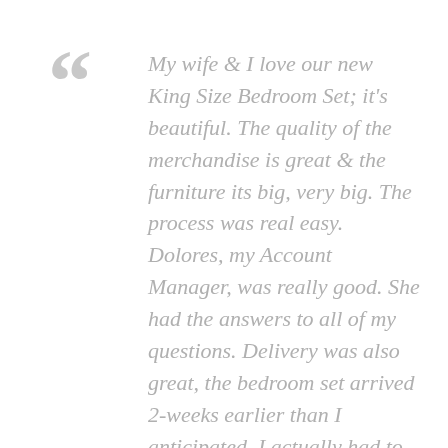My wife & I love our new King Size Bedroom Set; it's beautiful. The quality of the merchandise is great & the furniture its big, very big. The process was real easy. Dolores, my Account Manager, was really good. She had the answers to all of my questions. Delivery was also great, the bedroom set arrived 2-weeks earlier than I anticipated. I actually had to delay the delivery 6-days because the room was not ready. The delivery company was very accommodating